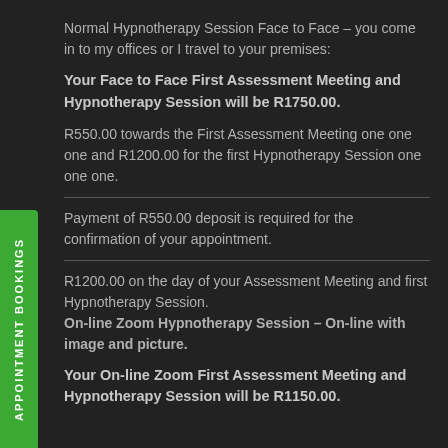Normal Hypnotherapy Session Face to Face – you come in to my offices or I travel to your premises:
Your Face to Face First Assessment Meeting and Hypnotherapy Session will be R1750.00.
R550.00 towards the First Assessment Meeting one one one and R1200.00 for the first Hypnotherapy Session one one one.
Payment of R550.00 deposit is required for the confirmation of your appointment.
R1200.00 on the day of your Assessment Meeting and first Hypnotherapy Session.
On-line Zoom Hypnotherapy Session – On-line with image and picture.
Your On-line Zoom First Assessment Meeting and Hypnotherapy Session will be R1150.00.